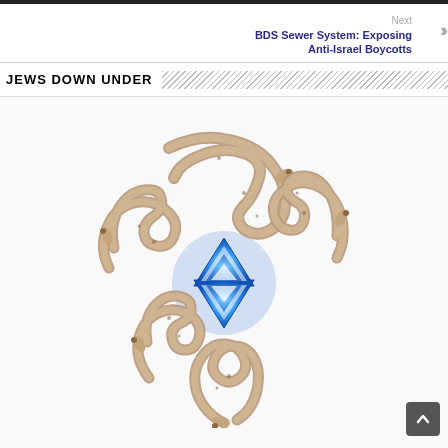Next
BDS Sewer System: Exposing Anti-Israel Boycotts
JEWS DOWN UNDER
[Figure (illustration): Illustration of snake-like creatures encircling a blue Star of David]